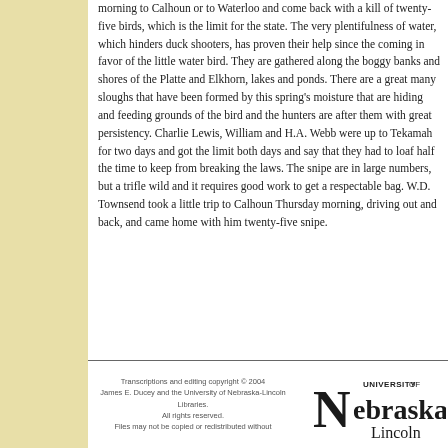morning to Calhoun or to Waterloo and come back with a kill of twenty-five birds, which is the limit for the state. The very plentifulness of water, which hinders duck shooters, has proven their help since the coming in favor of the little water bird. They are gathered along the boggy banks and shores of the Platte and Elkhorn, lakes and ponds. There are a great many sloughs that have been formed by this spring's moisture that are hiding and feeding grounds of the bird and the hunters are after them with great persistency. Charlie Lewis, William and H.A. Webb were up to Tekamah for two days and got the limit both days and say that they had to loaf half the time to keep from breaking the laws. The snipe are in large numbers, but a trifle wild and it requires good work to get a respectable bag. W.D. Townsend took a little trip to Calhoun Thursday morning, driving out and back, and came home with him twenty-five snipe.
Transcriptions and editing copyright © 2004 James E. Ducey and the University of Nebraska-Lincoln Libraries. All rights reserved. Files may not be copied or redistributed without
[Figure (logo): University of Nebraska-Lincoln logo with bold text]